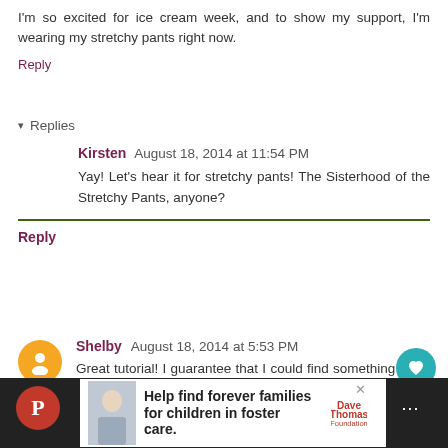I'm so excited for ice cream week, and to show my support, I'm wearing my stretchy pants right now.
Reply
▾ Replies
Kirsten  August 18, 2014 at 11:54 PM
Yay! Let's hear it for stretchy pants! The Sisterhood of the Stretchy Pants, anyone?
Reply
Shelby  August 18, 2014 at 5:53 PM
Great tutorial! I guarantee that I could find something to do with that sauce.
Reply
Help find forever families for children in foster care.